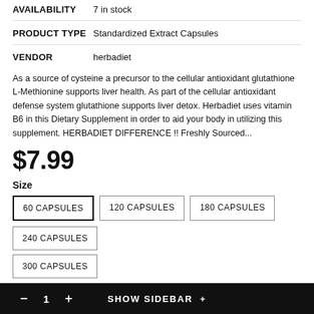AVAILABILITY  7 in stock
PRODUCT TYPE  Standardized Extract Capsules
VENDOR  herbadiet
As a source of cysteine a precursor to the cellular antioxidant glutathione L-Methionine supports liver health. As part of the cellular antioxidant defense system glutathione supports liver detox. Herbadiet uses vitamin B6 in this Dietary Supplement in order to aid your body in utilizing this supplement. HERBADIET DIFFERENCE !! Freshly Sourced...
$7.99
Size
60 CAPSULES
120 CAPSULES
180 CAPSULES
240 CAPSULES
300 CAPSULES
Quantity:
— 1 +  SHOW SIDEBAR +